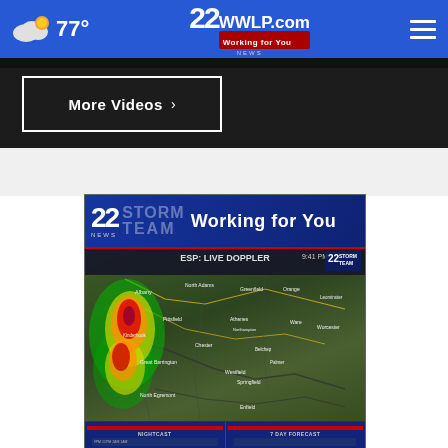77° | 22 WWLP.com — Working for You
More Videos ›
[Figure (screenshot): 22 News Storm Team weather card showing ESP Live Doppler radar at 9:41 PM with Working for You banner and New England/Massachusetts radar map showing storm activity near Albany and western Massachusetts]
[Figure (screenshot): Two mini forecast thumbnails at bottom: NIGHTCAST and 7 DAY FORECAST]